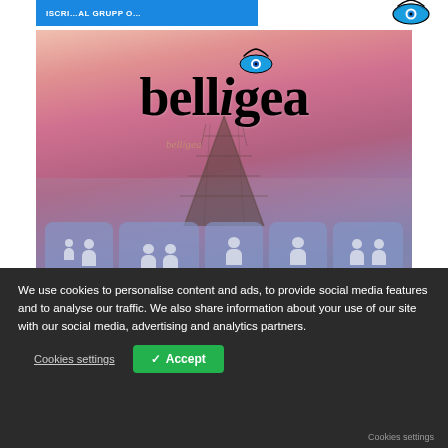[Figure (illustration): Blue button bar with bold white uppercase text (partially cut off), and an eye logo on the right]
[Figure (photo): Belligea brand image: pink/purple sunset over water with a pier, 'belligea' text logo, eye graphic, watermark text, and social media group bubble icons at the bottom]
FACEBOOK
[Figure (logo): Belligea eye logo - stylized eye with eyelash]
We use cookies to personalise content and ads, to provide social media features and to analyse our traffic. We also share information about your use of our site with our social media, advertising and analytics partners.
Cookies settings
✓ Accept
Cookies settings